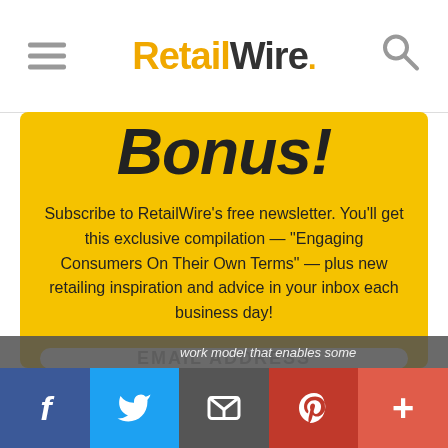RetailWire
Bonus!
Subscribe to RetailWire's free newsletter. You'll get this exclusive compilation — "Engaging Consumers On Their Own Terms" — plus new retailing inspiration and advice in your inbox each business day!
EMAIL ADDRESS
SUBSCRIBE NOW ›
work model that enables some
f  Twitter  Email  Pinterest  +